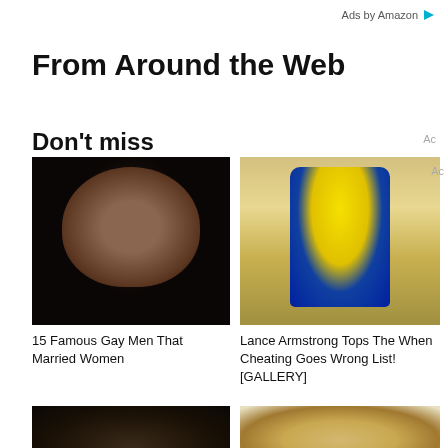Ads by Amazon
From Around the Web
Don't miss
[Figure (photo): Portrait photo of a man with dark hair against a dark background]
15 Famous Gay Men That Married Women
[Figure (photo): Lance Armstrong in yellow jersey celebrating a cycling victory with arms raised]
Lance Armstrong Tops The When Cheating Goes Wrong List! [GALLERY]
[Figure (photo): Dark colored animal, possibly a dog, close-up photo]
[Figure (photo): Small fluffy dog, light brown/blonde coloring]